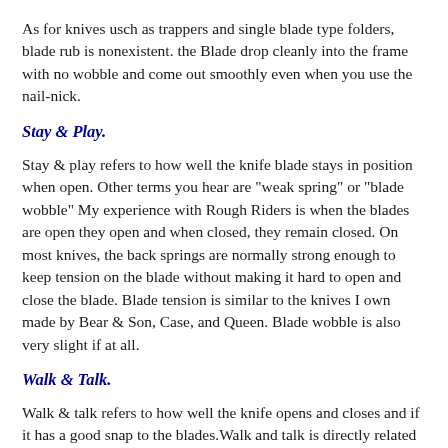As for knives usch as trappers and single blade type folders, blade rub is nonexistent. the Blade drop cleanly into the frame with no wobble and come out smoothly even when you use the nail-nick.
Stay & Play.
Stay & play refers to how well the knife blade stays in position when open. Other terms you hear are "weak spring" or "blade wobble" My experience with Rough Riders is when the blades are open they open and when closed, they remain closed. On most knives, the back springs are normally strong enough to keep tension on the blade without making it hard to open and close the blade. Blade tension is similar to the knives I own made by Bear & Son, Case, and Queen. Blade wobble is also very slight if at all.
Walk & Talk.
Walk & talk refers to how well the knife opens and closes and if it has a good snap to the blades.Walk and talk is directly related to the strength of the back-spring and size of the blades. A common complaint has been that Rough Riders are hard to open due to a very strong back spring. I've found this to be the case on only two of the knives I've bought. The first a small black pearl whittler and the second a large boxcar whittler. On my other 90+ Rough riders, the knife pull was similar to that of other pocket knives. All of the